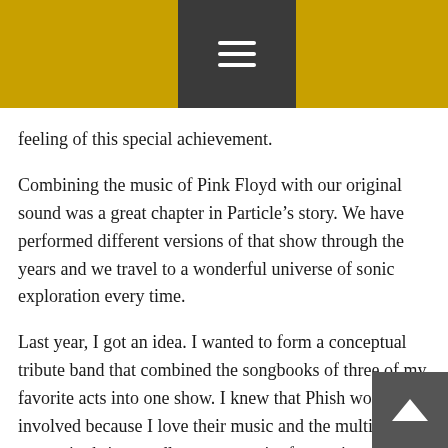feeling of this special achievement.
Combining the music of Pink Floyd with our original sound was a great chapter in Particle’s story. We have performed different versions of that show through the years and we travel to a wonderful universe of sonic exploration every time.
Last year, I got an idea. I wanted to form a conceptual tribute band that combined the songbooks of three of my favorite acts into one show. I knew that Phish would be involved because I love their music and the multi-genre repertoire brings endless opportunity for my intentions around this project. I am a huge Talking Heads fan and love the danceable layers of instrumentation in their work. The obvious choice for a third act for me was Pink Floyd. Adding the epic power, the soulful spirit and the psychedelic adventure of their songbook to this